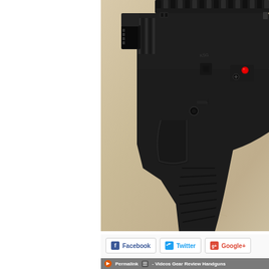[Figure (photo): Close-up photo of a black tactical pistol (handgun) with Picatinny rail on top and red indicator dot, lying on a tan/beige surface]
Facebook  Twitter  Google+
Permalink  - Videos  Gear Review  Handguns